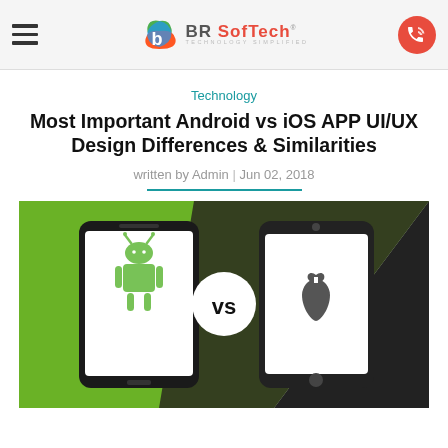BR Softech — Technology Simplified
Technology
Most Important Android vs iOS APP UI/UX Design Differences & Similarities
written by Admin | Jun 02, 2018
[Figure (illustration): Split green and dark background image showing an Android phone with the Android robot logo on the left vs an Apple iPhone with the Apple logo on the right, with a circular 'VS' badge in the center.]